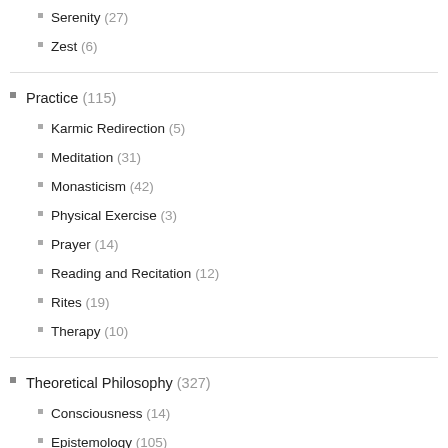Serenity (27)
Zest (6)
Practice (115)
Karmic Redirection (5)
Meditation (31)
Monasticism (42)
Physical Exercise (3)
Prayer (14)
Reading and Recitation (12)
Rites (19)
Therapy (10)
Theoretical Philosophy (327)
Consciousness (14)
Epistemology (105)
Certainty and Doubt (14)
Prejudices and "Intuitions" (27)
Free Will (17)